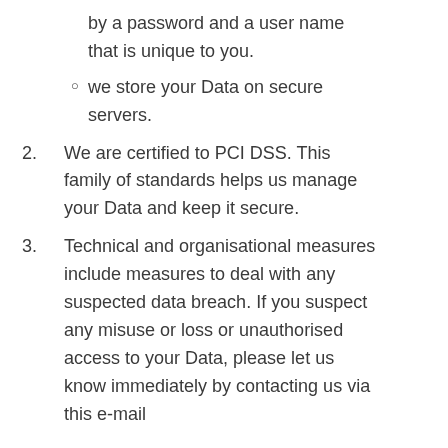by a password and a user name that is unique to you.
we store your Data on secure servers.
2. We are certified to PCI DSS. This family of standards helps us manage your Data and keep it secure.
3. Technical and organisational measures include measures to deal with any suspected data breach. If you suspect any misuse or loss or unauthorised access to your Data, please let us know immediately by contacting us via this e-mail